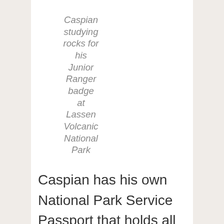Caspian studying rocks for his Junior Ranger badge at Lassen Volcanic National Park
Caspian has his own National Park Service Passport that holds all of his stamps, and getting these